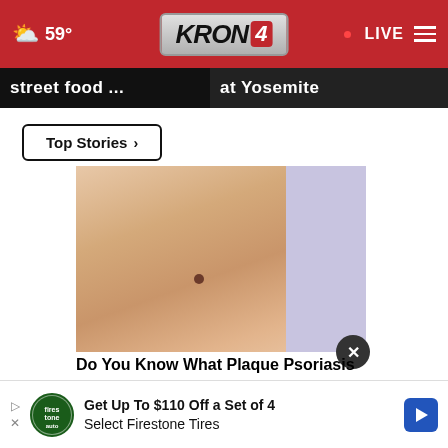59° KRON 4 LIVE
street food ... at Yosemite
Top Stories ›
[Figure (photo): Close-up of a hand touching skin with a mole/lesion, on a light purple background]
Do You Know What Plaque Psoriasis
Get Up To $110 Off a Set of 4 Select Firestone Tires